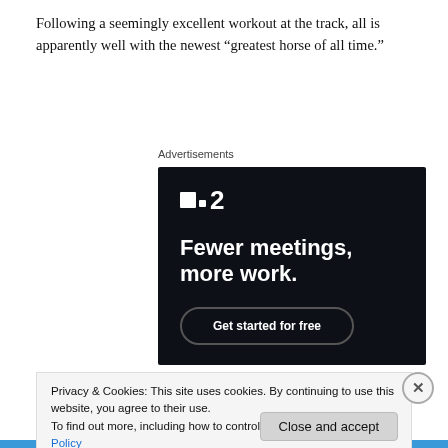Following a seemingly excellent workout at the track, all is apparently well with the newest “greatest horse of all time.”
Advertisements
[Figure (screenshot): Dark-themed advertisement for a project management or productivity app. Shows a logo resembling two squares and the number 2, with the headline 'Fewer meetings, more work.' and a 'Get started for free' button with rounded border.]
Privacy & Cookies: This site uses cookies. By continuing to use this website, you agree to their use.
To find out more, including how to control cookies, see here: Cookie Policy
Close and accept